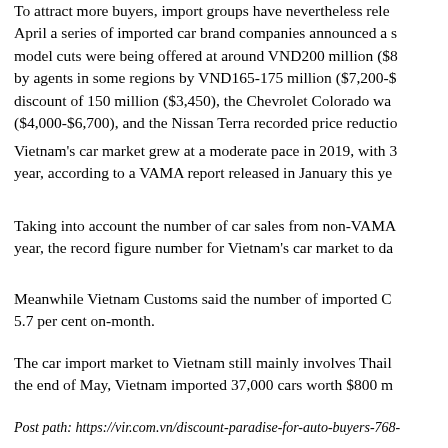To attract more buyers, import groups have nevertheless released. April a series of imported car brand companies announced a series model cuts were being offered at around VND200 million ($8 by agents in some regions by VND165-175 million ($7,200-$ discount of 150 million ($3,450), the Chevrolet Colorado was ($4,000-$6,700), and the Nissan Terra recorded price reductio
Vietnam's car market grew at a moderate pace in 2019, with 3 year, according to a VAMA report released in January this ye
Taking into account the number of car sales from non-VAMA year, the record figure number for Vietnam's car market to da
Meanwhile Vietnam Customs said the number of imported C 5.7 per cent on-month.
The car import market to Vietnam still mainly involves Thail the end of May, Vietnam imported 37,000 cars worth $800 m
Post path: https://vir.com.vn/discount-paradise-for-auto-buyers-768-